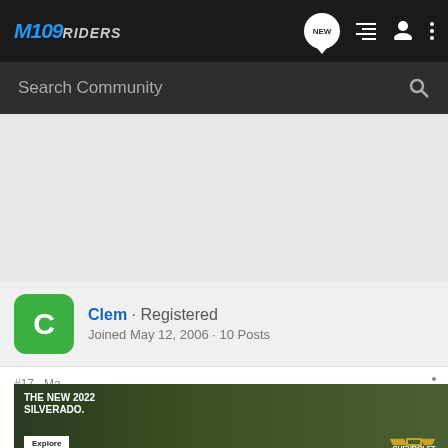M109Riders
Search Community
[Figure (other): Gray advertisement space area]
Clem · Registered
Joined May 12, 2006 · 10 Posts
#17 · Ma... Guys lo... e is a
[Figure (photo): Advertisement banner for The New 2022 Silverado by Chevrolet with Explore button]